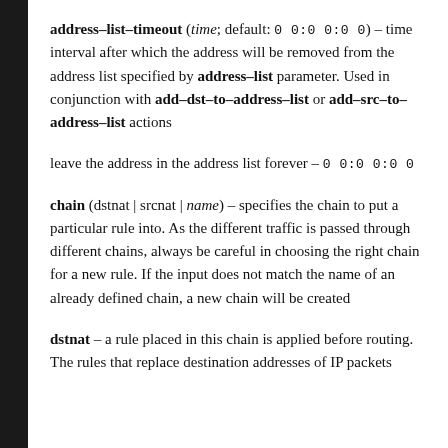address-list-timeout (time; default: 0 0:0 0:0 0) – time interval after which the address will be removed from the address list specified by address-list parameter. Used in conjunction with add-dst-to-address-list or add-src-to-address-list actions
leave the address in the address list forever – 0 0:0 0:0 0
chain (dstnat | srcnat | name) – specifies the chain to put a particular rule into. As the different traffic is passed through different chains, always be careful in choosing the right chain for a new rule. If the input does not match the name of an already defined chain, a new chain will be created
dstnat – a rule placed in this chain is applied before routing. The rules that replace destination addresses of IP packets